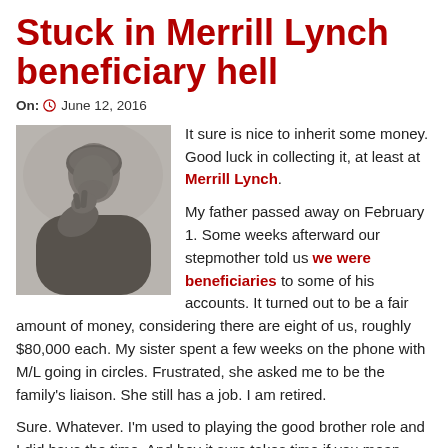Stuck in Merrill Lynch beneficiary hell
On: June 12, 2016
[Figure (photo): Black and white photo of a contemplative statue (resembling The Thinker), shown from the shoulders up against a light background.]
It sure is nice to inherit some money. Good luck in collecting it, at least at Merrill Lynch.

My father passed away on February 1. Some weeks afterward our stepmother told us we were beneficiaries to some of his accounts. It turned out to be a fair amount of money, considering there are eight of us, roughly $80,000 each. My sister spent a few weeks on the phone with M/L going in circles. Frustrated, she asked me to be the family's liaison. She still has a job. I am retired.

Sure. Whatever. I'm used to playing the good brother role and I did have the time. And boy it sure takes time if you mean going around in pointless circles. They are clearly loath to let go of Dad's accounts. In fact, it's hard to imagine how they could make it any harder to claim money that is rightfully ours.